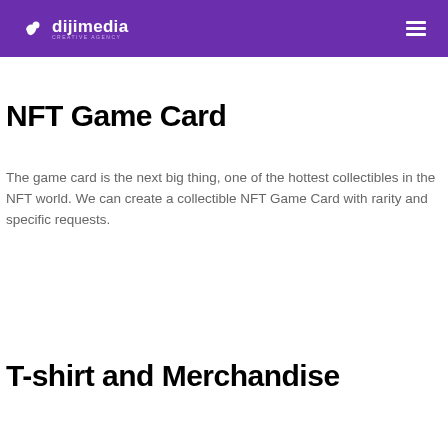dijimedia
NFT Game Card
The game card is the next big thing, one of the hottest collectibles in the NFT world. We can create a collectible NFT Game Card with rarity and specific requests.
T-shirt and Merchandise